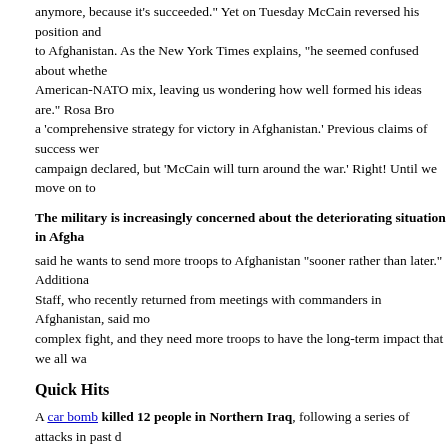anymore, because it's succeeded." Yet on Tuesday McCain reversed his position and to Afghanistan. As the New York Times explains, "he seemed confused about whether American-NATO mix, leaving us wondering how well formed his ideas are." Rosa Bro a 'comprehensive strategy for victory in Afghanistan.' Previous claims of success were campaign declared, but 'McCain will turn around the war.' Right! Until we move on to
The military is increasingly concerned about the deteriorating situation in Afgh...
said he wants to send more troops to Afghanistan "sooner rather than later." Additional Staff, who recently returned from meetings with commanders in Afghanistan, said mo complex fight, and they need more troops to have the long-term impact that we all wa
Quick Hits
A car bomb killed 12 people in Northern Iraq, following a series of attacks in past of the Joint Chiefs Michael Mullen continues to advocate withdrawing more U.S. troo
A Wall Street Journal article uncovers America's dangerous reliance on security privatizing security efforts and instances of corruption and mercenary tactics without a
The Guardian reports that the US plans to station diplomats in Iran after almost diplomatic presence there is attributed to President Bush's conviction to leave with a
The NY Times analyzed the Administration's apparent shift in policy towards Ira charges, their recent change in tact has raised the ire of John Bolton.
July 17, 2008 at 11:31 AM | Permalink | Comments (0) | TrackBack (0)
The War Pundits: Sam Power, McJoan, Danner, Mit...